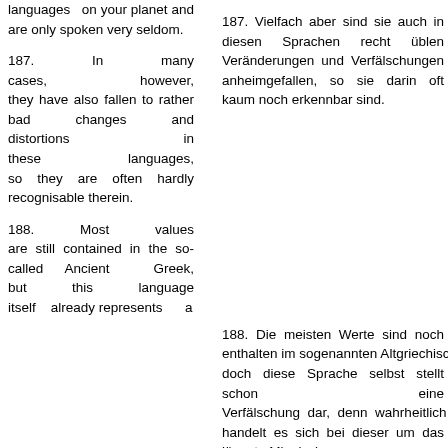languages on your planet and are only spoken very seldom.
187. In many cases, however, they have also fallen to rather bad changes and distortions in these languages, so they are often hardly recognisable therein.
188. Most values are still contained in the so-called Ancient Greek, but this language itself already represents a
187. Vielfach aber sind sie auch in diesen Sprachen recht üblen Veränderungen und Verfälschungen anheimgefallen, so sie darin oft kaum noch erkennbar sind.
188. Die meisten Werte sind noch enthalten im sogenannten Altgriechischen, doch diese Sprache selbst stellt schon eine Verfälschung dar, denn wahrheitlich handelt es sich bei dieser um das jüngste Minoisch.